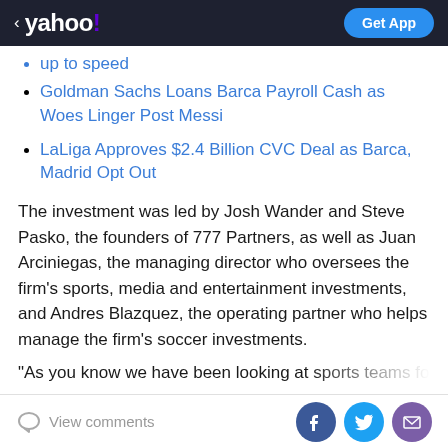< yahoo! | Get App
up to speed
Goldman Sachs Loans Barca Payroll Cash as Woes Linger Post Messi
LaLiga Approves $2.4 Billion CVC Deal as Barca, Madrid Opt Out
The investment was led by Josh Wander and Steve Pasko, the founders of 777 Partners, as well as Juan Arciniegas, the managing director who oversees the firm's sports, media and entertainment investments, and Andres Blazquez, the operating partner who helps manage the firm's soccer investments.
"As you know we have been looking at sports teams for a
View comments